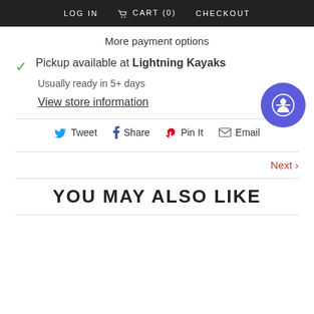LOG IN  CART (0)  CHECKOUT
More payment options
Pickup available at Lightning Kayaks
Usually ready in 5+ days
View store information
Tweet  Share  Pin It  Email
Next >
YOU MAY ALSO LIKE